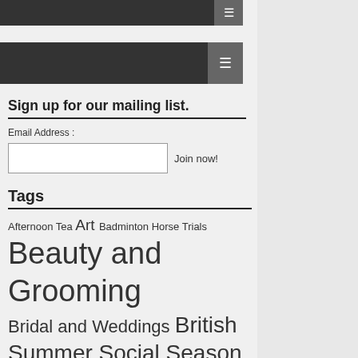Navigation bar (hamburger menu)
Secondary navigation bar (hamburger menu)
Sign up for our mailing list.
Email Address :
Join now!
Tags
Afternoon Tea Art Badminton Horse Trials Beauty and Grooming Bridal and Weddings British Summer Social Season Champagne Chelsea Chelsea Flower Show Christmas Diet Dining and Drinks Events Fashion Featured Fitness Hair Harrods Health James